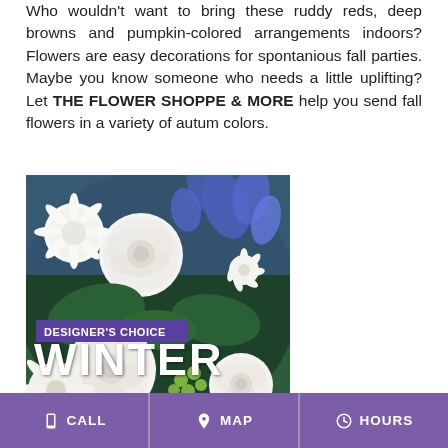Who wouldn't want to bring these ruddy reds, deep browns and pumpkin-colored arrangements indoors? Flowers are easy decorations for spontanious fall parties. Maybe you know someone who needs a little uplifting? Let THE FLOWER SHOPPE & MORE help you send fall flowers in a variety of autum colors.
[Figure (photo): Floral arrangement featuring white roses, blue/purple irises, white chrysanthemums, and green berries. Overlaid text reads 'DESIGNER'S CHOICE' in a purple banner and 'WINTER' in large white bold letters.]
CALL   MAP   HOURS